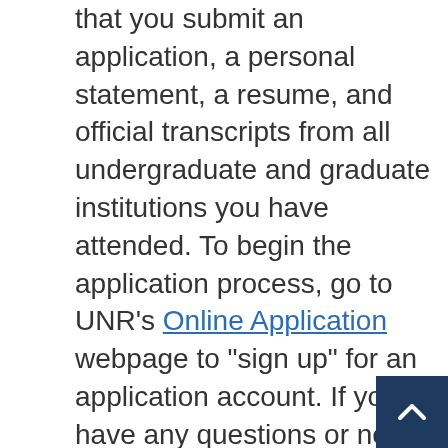that you submit an application, a personal statement, a resume, and official transcripts from all undergraduate and graduate institutions you have attended. To begin the application process, go to UNR's Online Application webpage to "sign up" for an application account. If you have any questions or need assistance with the application process, please contact program director Victor Vasquez.
If you are currently in a graduate program at the University of Nevada, Reno and